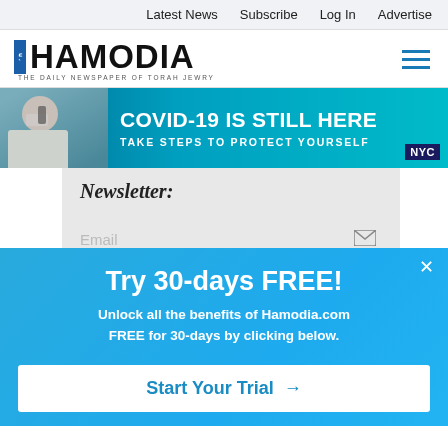Latest News  Subscribe  Log In  Advertise
[Figure (logo): Hamodia logo - THE DAILY NEWSPAPER OF TORAH JEWRY]
[Figure (infographic): COVID-19 IS STILL HERE - TAKE STEPS TO PROTECT YOURSELF - NYC banner ad with masked person on phone]
Newsletter:
Email
[Figure (infographic): Popup overlay: Try 30-days FREE! Unlock all the benefits of Hamodia.com FREE for 30-days by clicking below. Start Your Trial →]